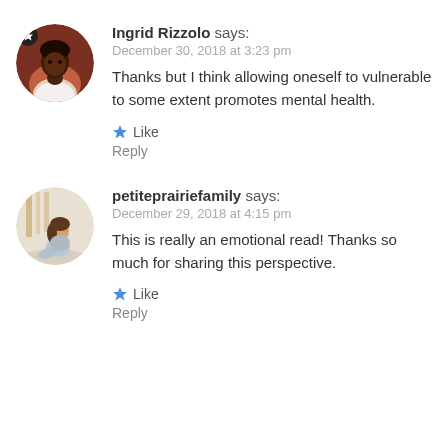Ingrid Rizzolo says: December 30, 2018 at 3:23 pm Thanks but I think allowing oneself to vulnerable to some extent promotes mental health.
Like Reply
petiteprairiefamily says: December 29, 2018 at 4:15 pm This is really an emotional read! Thanks so much for sharing this perspective.
Like Reply